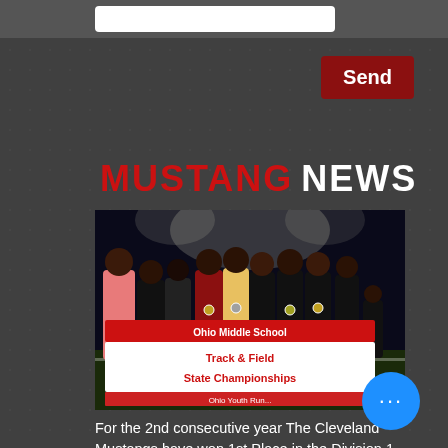Send
MUSTANG NEWS
[Figure (photo): Group of young athletes holding a banner reading 'Ohio Middle School Track & Field State Championships' and 'Ohio Youth Run'. Athletes are wearing medals and posing on a track field at night.]
For the 2nd consecutive year The Cleveland Mustangs have won 1st Place in the Division 1 State Middle